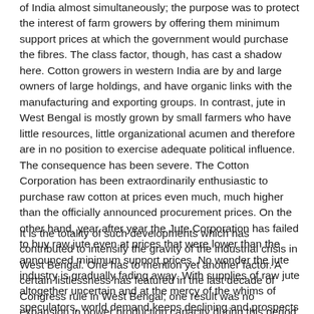of India almost simultaneously; the purpose was to protect the interest of farm growers by offering them minimum support prices at which the government would purchase the fibres. The class factor, though, has cast a shadow here. Cotton growers in western India are by and large owners of large holdings, and have organic links with the manufacturing and exporting groups. In contrast, jute in West Bengal is mostly grown by small farmers who have little resources, little organizational acumen and therefore are in no position to exercise adequate political influence. The consequence has been severe. The Cotton Corporation has been extraordinarily enthusiastic to purchase raw cotton at prices even much, much higher than the officially announced procurement prices. On the other hand, year after year the Jute Corporation has failed to buy raw jute even at prices that were lower than the announced minimum support prices. No wonder the jute industry is gradually fading away. With supplies of raw jute altogether uncertain and at the mercy of the whims of speculators, world demand keeps declining and prospects of innovative new manufacturing directions are thin.
It is the totality of such developments which has contributed to intensify the gravity of the industrial crisis in West Bengal. One has to mention yet another factor. A certain listlessness has featured in the last decade of Congress rule in West Bengal; one result was no expansion in power production capacity during this period. Power shortage became an additional alibi for capital to